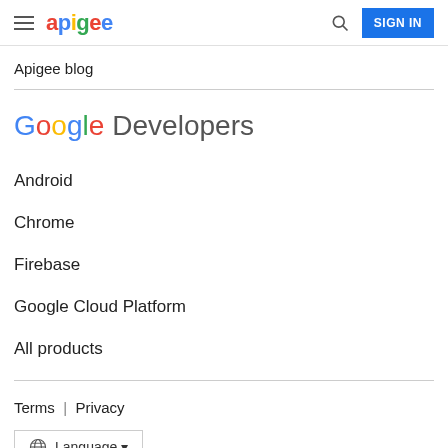apigee | SIGN IN
Apigee blog
[Figure (logo): Google Developers logo with Google wordmark in brand colors (blue, red, yellow, green) followed by 'Developers' in gray]
Android
Chrome
Firebase
Google Cloud Platform
All products
Terms  |  Privacy
Language ▾